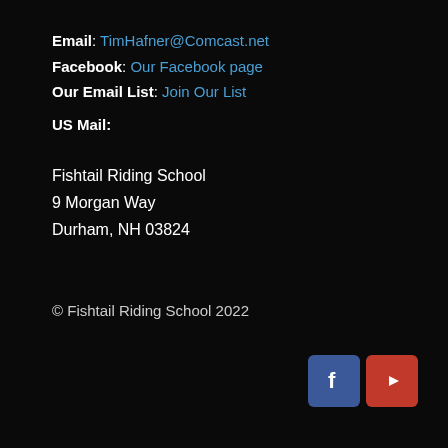Email: TimHafner@Comcast.net
Facebook: Our Facebook page
Our Email List: Join Our List
US Mail:
Fishtail Riding School
9 Morgan Way
Durham, NH 03824
© Fishtail Riding School 2022
[Figure (logo): Facebook and YouTube social media icon buttons]